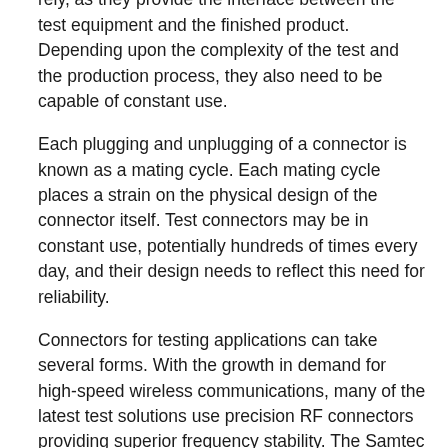upon which the rest of the instrumentation must rely, as they provide the interface between the test equipment and the finished product. Depending upon the complexity of the test and the production process, they also need to be capable of constant use.
Each plugging and unplugging of a connector is known as a mating cycle. Each mating cycle places a strain on the physical design of the connector itself. Test connectors may be in constant use, potentially hundreds of times every day, and their design needs to reflect this need for reliability.
Connectors for testing applications can take several forms. With the growth in demand for high-speed wireless communications, many of the latest test solutions use precision RF connectors providing superior frequency stability. The Samtec range of precision RF connectors and cable assemblies are now delivering frequencies of up to 110 GHz for accurate testing and rapid results.
Board-to-board applications can benefit from the Samtec